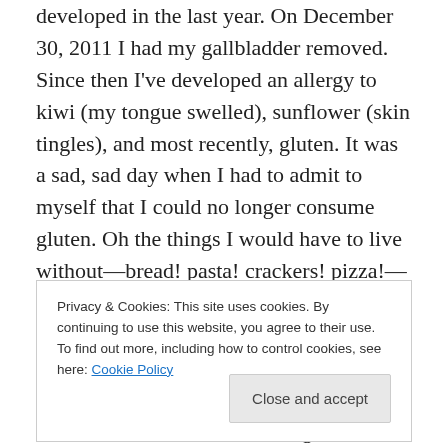developed in the last year. On December 30, 2011 I had my gallbladder removed. Since then I've developed an allergy to kiwi (my tongue swelled), sunflower (skin tingles), and most recently, gluten. It was a sad, sad day when I had to admit to myself that I could no longer consume gluten. Oh the things I would have to live without—bread! pasta! crackers! pizza!—sob!
But a tour around the grocery store and some taste-testing showed me that I didn't have to live without these things. Brown rice pasta has a slightly chewier texture, but tastes
Privacy & Cookies: This site uses cookies. By continuing to use this website, you agree to their use. To find out more, including how to control cookies, see here: Cookie Policy
tasty! West Meadow Farm makes a delicious oatmeal